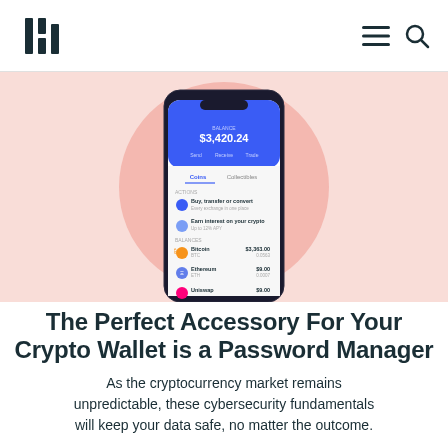Keeper Security logo, hamburger menu, search icon
[Figure (screenshot): A smartphone displaying a cryptocurrency wallet app showing a balance of $3,420.24 with Bitcoin, Ethereum, and Uniswap listed, placed on a pink background with a large pink circle.]
The Perfect Accessory For Your Crypto Wallet is a Password Manager
As the cryptocurrency market remains unpredictable, these cybersecurity fundamentals will keep your data safe, no matter the outcome.